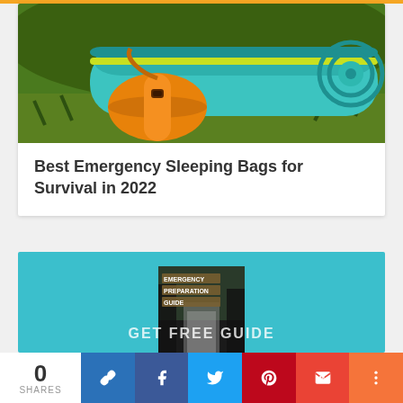[Figure (illustration): Colorful illustration of emergency sleeping bags/survival gear outdoors on green grass background]
Best Emergency Sleeping Bags for Survival in 2022
[Figure (photo): Teal promotional block with Emergency Preparation Guide book cover featuring forest/waterfall scene and GET FREE GUIDE text]
0 SHARES
[Figure (other): Social share buttons: link, Facebook, Twitter, Pinterest, Gmail, More]